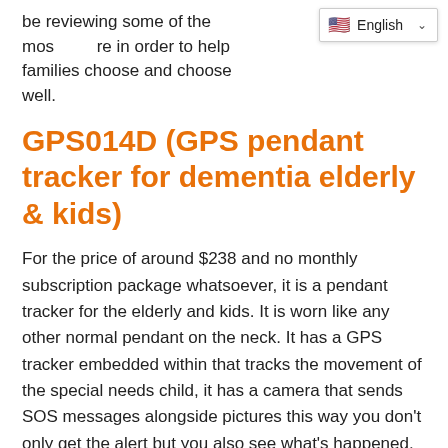be reviewing some of the mos…re in order to help families choose and choose well.
GPS014D (GPS pendant tracker for dementia elderly & kids)
For the price of around $238 and no monthly subscription package whatsoever, it is a pendant tracker for the elderly and kids. It is worn like any other normal pendant on the neck. It has a GPS tracker embedded within that tracks the movement of the special needs child, it has a camera that sends SOS messages alongside pictures this way you don't only get the alert but you also see what's happened. It is a 2-way type device, meaning messages can't only be received from it but can also be sent to it. On the